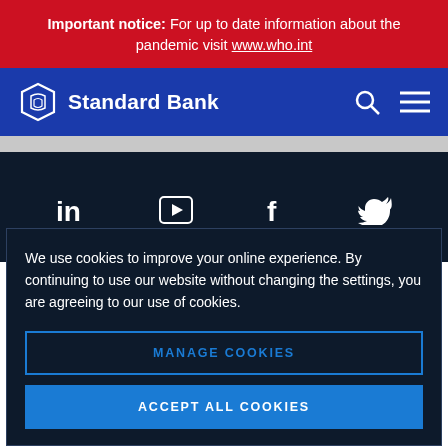Important notice: For up to date information about the pandemic visit www.who.int
[Figure (logo): Standard Bank logo with shield icon and text 'Standard Bank' in white on blue navigation bar, with search and hamburger menu icons on the right]
We use cookies to improve your online experience. By continuing to use our website without changing the settings, you are agreeing to our use of cookies.
MANAGE COOKIES
ACCEPT ALL COOKIES